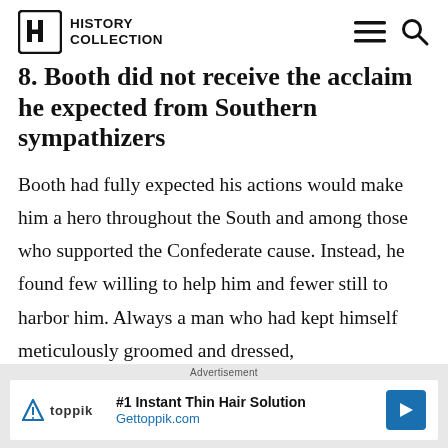HISTORY COLLECTION
8. Booth did not receive the acclaim he expected from Southern sympathizers
Booth had fully expected his actions would make him a hero throughout the South and among those who supported the Confederate cause. Instead, he found few willing to help him and fewer still to harbor him. Always a man who had kept himself meticulously groomed and dressed,
Advertisement
#1 Instant Thin Hair Solution Gettoppik.com